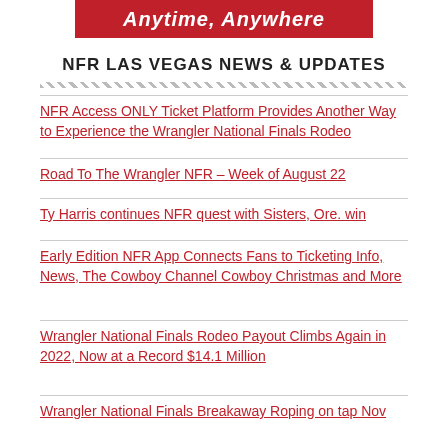[Figure (other): Red banner with white italic bold text reading 'Anytime, Anywhere']
NFR LAS VEGAS NEWS & UPDATES
NFR Access ONLY Ticket Platform Provides Another Way to Experience the Wrangler National Finals Rodeo
Road To The Wrangler NFR – Week of August 22
Ty Harris continues NFR quest with Sisters, Ore. win
Early Edition NFR App Connects Fans to Ticketing Info, News, The Cowboy Channel Cowboy Christmas and More
Wrangler National Finals Rodeo Payout Climbs Again in 2022, Now at a Record $14.1 Million
Wrangler National Finals Breakaway Roping on tap Nov